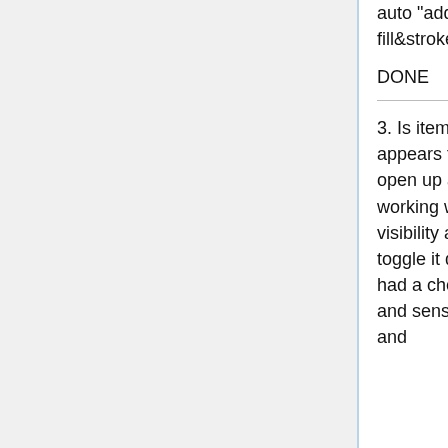auto "add" new gradient when switching an object to gradient in fill&stroke, instead of reusing the last one used
DONE
3. Is item visibility supported? I see the checkbox in Item Properties but it appears to always be disabled. However, even if it did work, having to open up and mouse over to extra dialogs is very time consuming. When working with complex images in Illustrator I am all the time flipping visibility and sensitivity on/off and it's a quick process because you can toggle it directly from the layer view. It would be nice if the XML viewer had a check-box or something right next to each item for quick visibility and sensitivity changes (see how Layers work in The Gimp, Illustrator, and